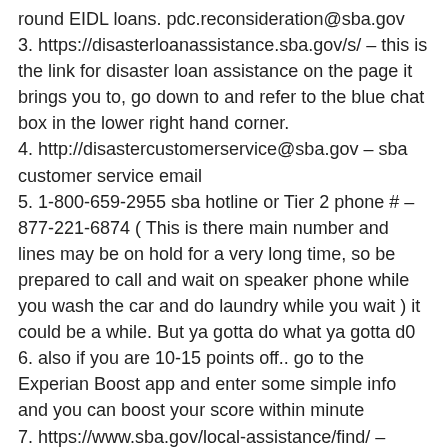round EIDL loans. pdc.reconsideration@sba.gov
3. https://disasterloanassistance.sba.gov/s/ – this is the link for disaster loan assistance on the page it brings you to, go down to and refer to the blue chat box in the lower right hand corner.
4. http://disastercustomerservice@sba.gov – sba customer service email
5. 1-800-659-2955 sba hotline or Tier 2 phone # – 877-221-6874 ( This is there main number and lines may be on hold for a very long time, so be prepared to call and wait on speaker phone while you wash the car and do laundry while you wait ) it could be a while. But ya gotta do what ya gotta d0
6. also if you are 10-15 points off.. go to the Experian Boost app and enter some simple info and you can boost your score within minute
7. https://www.sba.gov/local-assistance/find/ –